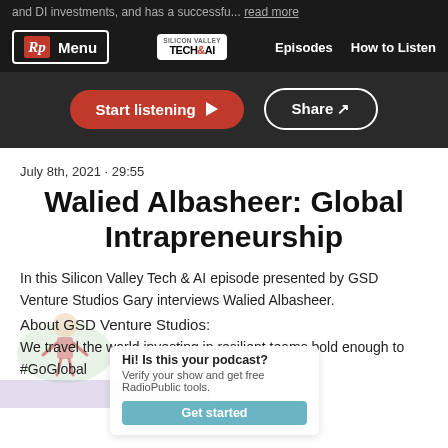and DI investments, and has a successfu... read more
Rp Menu | TECH&AI | Episodes | How to Listen
[Figure (screenshot): Navigation bar with RadioPublic logo (Rp), Menu button, Tech&AI logo, Episodes and How to Listen links on dark background]
[Figure (screenshot): Start listening and Share buttons on dark background]
July 8th, 2021 · 29:55
Walied Albasheer: Global Intrapreneurship
In this Silicon Valley Tech & AI episode presented by GSD Venture Studios Gary interviews Walied Albasheer.
About GSD Venture Studios:
We travel the world investing in resilient teams bold enough to #GoGlobal